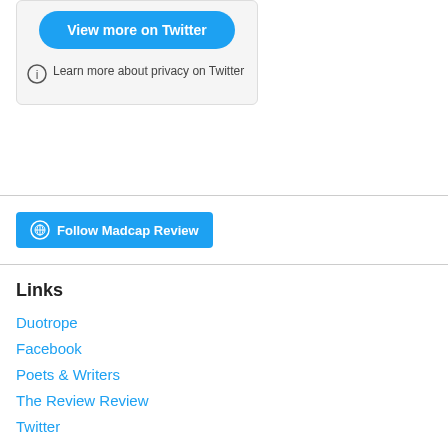[Figure (screenshot): Twitter widget with 'View more on Twitter' blue button and privacy info link]
[Figure (screenshot): WordPress 'Follow Madcap Review' blue button]
Links
Duotrope
Facebook
Poets & Writers
The Review Review
Twitter